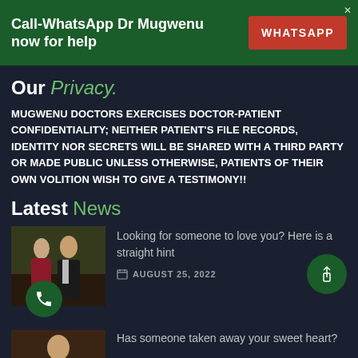Call-WhatsApp Dr Mugwenu now for help | WHATSAPP
Our Privacy.
MUGWENU DOCTORS EXERCISES DOCTOR-PATIENT CONFIDENTIALITY; NEITHER PATIENT'S FILE RECORDS, IDENTITY NOR SECRETS WILL BE SHARED WITH A THIRD PARTY OR MADE PUBLIC UNLESS OTHERWISE, PATIENTS OF THEIR OWN VOLITION WISH TO GIVE A TESTIMONY!!
Latest News
[Figure (photo): Couple photo - man and woman dressed formally]
Looking for someone to love you? Here is a straight hint
AUGUST 25, 2022
[Figure (photo): Person photo thumbnail]
Has someone taken away your sweet heart?